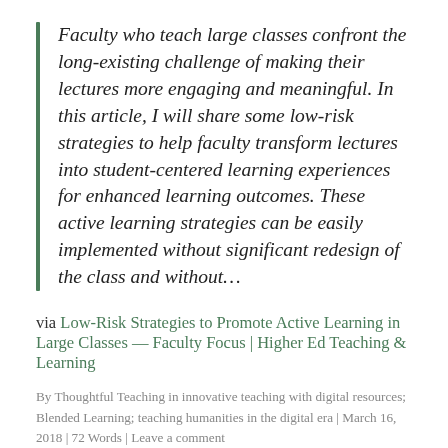Faculty who teach large classes confront the long-existing challenge of making their lectures more engaging and meaningful. In this article, I will share some low-risk strategies to help faculty transform lectures into student-centered learning experiences for enhanced learning outcomes. These active learning strategies can be easily implemented without significant redesign of the class and without…
via Low-Risk Strategies to Promote Active Learning in Large Classes — Faculty Focus | Higher Ed Teaching & Learning
By Thoughtful Teaching in innovative teaching with digital resources; Blended Learning; teaching humanities in the digital era | March 16, 2018 | 72 Words | Leave a comment